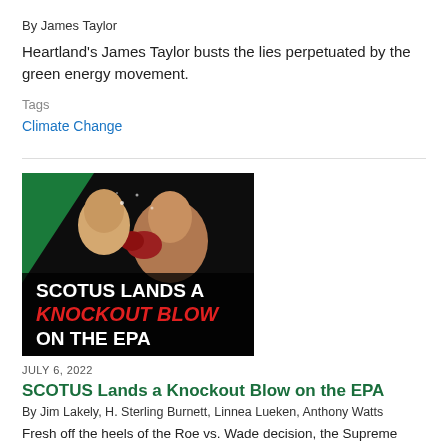By James Taylor
Heartland's James Taylor busts the lies perpetuated by the green energy movement.
Tags
Climate Change
[Figure (photo): Boxing/MMA image with text overlay: SCOTUS LANDS A KNOCKOUT BLOW ON THE EPA]
JULY 6, 2022
SCOTUS Lands a Knockout Blow on the EPA
By Jim Lakely, H. Sterling Burnett, Linnea Lueken, Anthony Watts
Fresh off the heels of the Roe vs. Wade decision, the Supreme